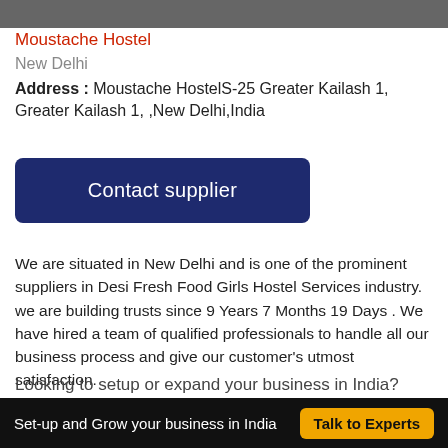[Figure (photo): Top portion of a photo, partially cropped, showing dark background]
Moustache Hostel
New Delhi
Address : Moustache HostelS-25 Greater Kailash 1, Greater Kailash 1, ,New Delhi,India
Contact supplier
We are situated in New Delhi and is one of the prominent suppliers in Desi Fresh Food Girls Hostel Services industry. we are building trusts since 9 Years 7 Months 19 Days . We have hired a team of qualified professionals to handle all our business process and give our customer's utmost satisfaction.
Looking to setup or expand your business in India?
Set-up and Grow your business in India   Talk to Experts